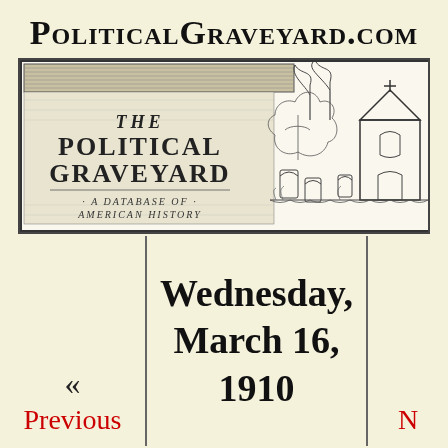PoliticalGraveyard.com
[Figure (illustration): The Political Graveyard banner illustration — a decorative engraving-style image showing text 'THE POLITICAL GRAVEYARD: A DATABASE OF AMERICAN HISTORY' on the left side, with a detailed ink-style drawing of a graveyard scene with tombstones, trees, and a church/chapel on the right.]
Wednesday, March 16, 1910
« Previous
N...